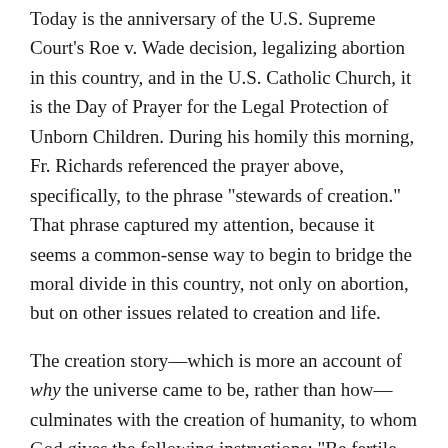Today is the anniversary of the U.S. Supreme Court's Roe v. Wade decision, legalizing abortion in this country, and in the U.S. Catholic Church, it is the Day of Prayer for the Legal Protection of Unborn Children. During his homily this morning, Fr. Richards referenced the prayer above, specifically, to the phrase "stewards of creation." That phrase captured my attention, because it seems a common-sense way to begin to bridge the moral divide in this country, not only on abortion, but on other issues related to creation and life.
The creation story—which is more an account of why the universe came to be, rather than how—culminates with the creation of humanity, to whom God gives the following instructions: "Be fertile and multiply; fill the earth and subdue it" (Genesis 1:28). The Lord creates everything for us and entrusts it to our care. In the